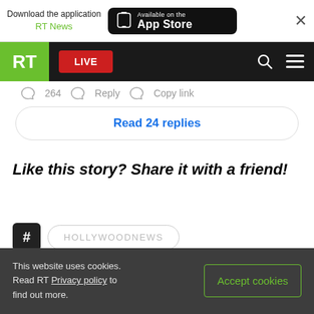[Figure (screenshot): App store download banner with RT News label and Available on the App Store button, and close X]
[Figure (screenshot): RT website navigation bar with green RT logo, red LIVE button, search icon, and hamburger menu]
264   Reply   Copy link
Read 24 replies
Like this story? Share it with a friend!
HOLLYWOODNEWS
This website uses cookies. Read RT Privacy policy to find out more.
Accept cookies